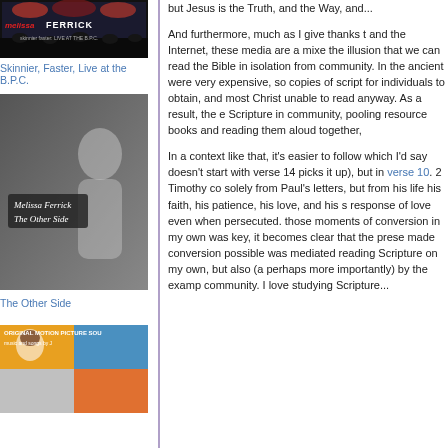[Figure (photo): Melissa Ferrick album cover - Live at the B.P.C., dark concert photo with text]
Skinnier, Faster, Live at the B.P.C.
[Figure (photo): Melissa Ferrick - The Other Side album cover, dark artistic photo with handwritten text overlay]
The Other Side
[Figure (photo): Original Motion Picture Soundtrack album cover with collage of images]
but Jesus is the Truth, and the Way, and...
And furthermore, much as I give thanks to and the Internet, these media are a mixed the illusion that we can read the Bible in isolation from community. In the ancient were very expensive, so copies of script for individuals to obtain, and most Christ unable to read anyway. As a result, the e Scripture in community, pooling resource books and reading them aloud together,
In a context like that, it's easier to follow which I'd say doesn't start with verse 14 picks it up), but in verse 10. 2 Timothy co solely from Paul's letters, but from his life his faith, his patience, his love, and his s response of love even when persecuted. those moments of conversion in my own was key, it becomes clear that the prese made conversion possible was mediated reading Scripture on my own, but also (a perhaps more importantly) by the examp community. I love studying Scripture...